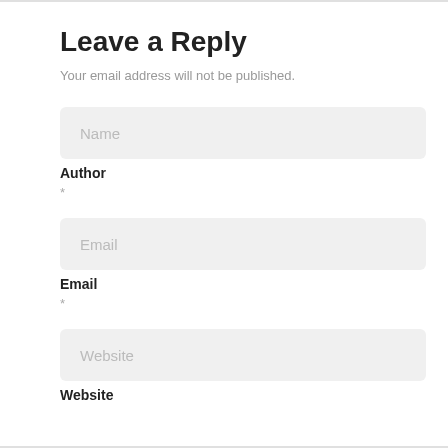Leave a Reply
Your email address will not be published.
Name
Author
*
Email
Email
*
Website
Website